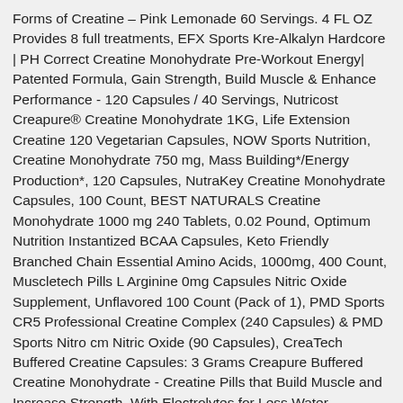Forms of Creatine – Pink Lemonade 60 Servings. 4 FL OZ Provides 8 full treatments, EFX Sports Kre-Alkalyn Hardcore | PH Correct Creatine Monohydrate Pre-Workout Energy| Patented Formula, Gain Strength, Build Muscle & Enhance Performance - 120 Capsules / 40 Servings, Nutricost Creapure® Creatine Monohydrate 1KG, Life Extension Creatine 120 Vegetarian Capsules, NOW Sports Nutrition, Creatine Monohydrate 750 mg, Mass Building*/Energy Production*, 120 Capsules, NutraKey Creatine Monohydrate Capsules, 100 Count, BEST NATURALS Creatine Monohydrate 1000 mg 240 Tablets, 0.02 Pound, Optimum Nutrition Instantized BCAA Capsules, Keto Friendly Branched Chain Essential Amino Acids, 1000mg, 400 Count, Muscletech Pills L Arginine 0mg Capsules Nitric Oxide Supplement, Unflavored 100 Count (Pack of 1), PMD Sports CR5 Professional Creatine Complex (240 Capsules) & PMD Sports Nitro cm Nitric Oxide (90 Capsules), CreaTech Buffered Creatine Capsules: 3 Grams Creapure Buffered Creatine Monohydrate - Creatine Pills that Build Muscle and Increase Strength, With Electrolytes for Less Water Retention, 120 Capsules, Sundown Super Alpha Lipoic Acid 600 mg